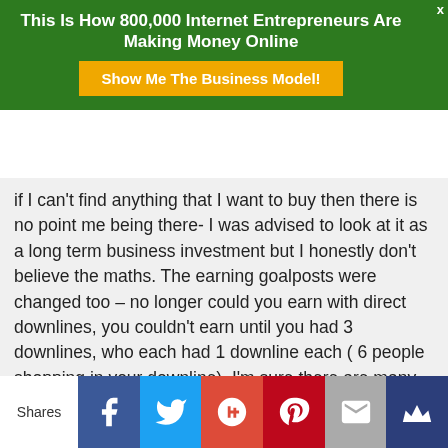This Is How 800,000 Internet Entrepreneurs Are Making Money Online
[Figure (other): Orange button labeled 'Show Me The Business Model!']
if I can't find anything that I want to buy then there is no point me being there- I was advised to look at it as a long term business investment but I honestly don't believe the maths. The earning goalposts were changed too – no longer could you earn with direct downlines, you couldn't earn until you had 3 downlines, who each had 1 downline each ( 6 people shopping in your downline). I'm sure there are many people who are happy with LTW but it made me wonder when they would change another layer.
[Figure (other): Social share bar with Facebook, Twitter, Google+, Pinterest, Email, and crown/bookmark icons]